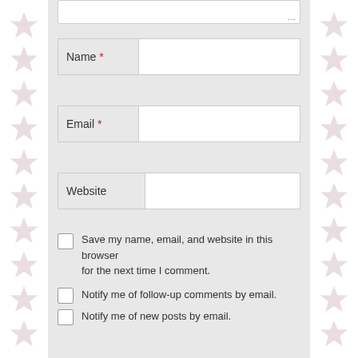[Figure (screenshot): Web form screenshot showing Name, Email, Website input fields with required asterisks, and checkboxes for saving info, notifying of follow-up comments and new posts by email. Star decorations on left and right borders.]
Name *
Email *
Website
Save my name, email, and website in this browser for the next time I comment.
Notify me of follow-up comments by email.
Notify me of new posts by email.